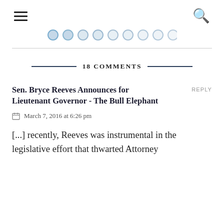≡  🔍
[Figure (other): Social media icons strip with circular blue-toned dots]
18 COMMENTS
SEN. BRYCE REEVES ANNOUNCES FOR LIEUTENANT GOVERNOR - THE BULL ELEPHANT
REPLY
March 7, 2016 at 6:26 pm
[...] recently, Reeves was instrumental in the legislative effort that thwarted Attorney